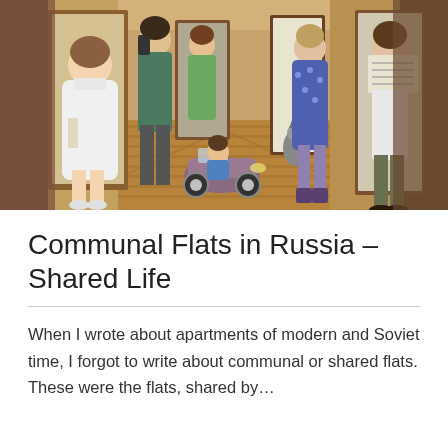[Figure (illustration): Illustrated scene of a Soviet communal apartment hallway with multiple residents at their doorways: a woman in a white robe on the left, a man with a phone, a child riding a pedal car, a woman in the center doorway, a cat, an older woman in a blue floral robe, and a man reading a newspaper on the right. Warm wooden floor, multiple doors along the corridor.]
Communal Flats in Russia – Shared Life
When I wrote about apartments of modern and Soviet time, I forgot to write about communal or shared flats. These were the flats, shared by…